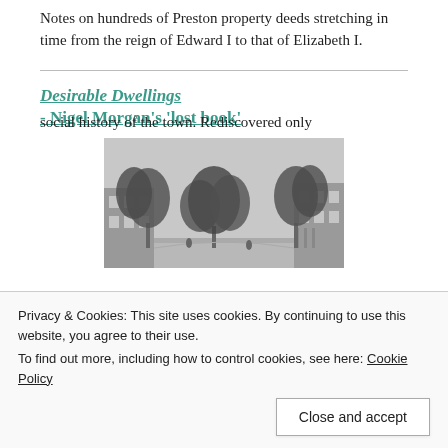Notes on hundreds of Preston property deeds stretching in time from the reign of Edward I to that of Elizabeth I.
Desirable Dwellings
- Nigel Morgan's 'lost book'
[Figure (photo): Black and white engraving/illustration of a tree-lined street with large houses on either side, people walking below the canopy of trees.]
social history of the town. Rediscovered only
Privacy & Cookies: This site uses cookies. By continuing to use this website, you agree to their use.
To find out more, including how to control cookies, see here: Cookie Policy